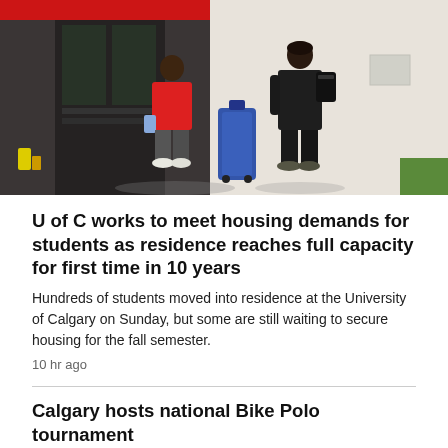[Figure (photo): Two students walking toward a university residence building entrance. One student wears a red shirt, the other wears dark clothing with a backpack and pulls a large blue suitcase. The building has a red awning above glass doors. There is a yellow object near the entrance and a small patch of grass visible.]
U of C works to meet housing demands for students as residence reaches full capacity for first time in 10 years
Hundreds of students moved into residence at the University of Calgary on Sunday, but some are still waiting to secure housing for the fall semester.
10 hr ago
Calgary hosts national Bike Polo tournament